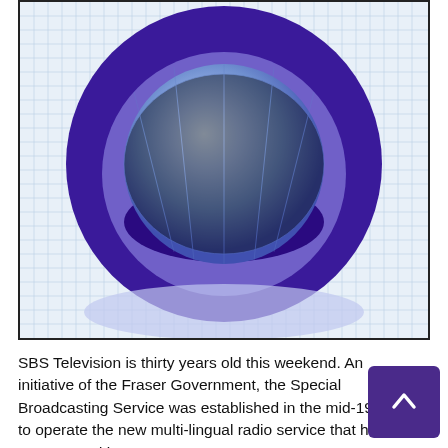[Figure (logo): SBS Television logo: a large dark purple/indigo circle containing a lighter blue-purple sphere/globe, set against a light blue grid background. The overall design is the classic SBS 'eye' or globe logo.]
SBS Television is thirty years old this weekend. An initiative of the Fraser Government, the Special Broadcasting Service was established in the mid-1970s to operate the new multi-lingual radio service that had commenced in